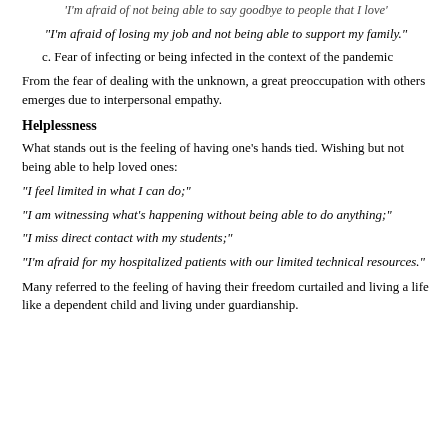"I'm afraid of not being able to say goodbye to people that I love"
"I'm afraid of losing my job and not being able to support my family."
c. Fear of infecting or being infected in the context of the pandemic
From the fear of dealing with the unknown, a great preoccupation with others emerges due to interpersonal empathy.
Helplessness
What stands out is the feeling of having one's hands tied. Wishing but not being able to help loved ones:
"I feel limited in what I can do;"
"I am witnessing what's happening without being able to do anything;"
"I miss direct contact with my students;"
"I'm afraid for my hospitalized patients with our limited technical resources."
Many referred to the feeling of having their freedom curtailed and living a life like a dependent child and living under guardianship.